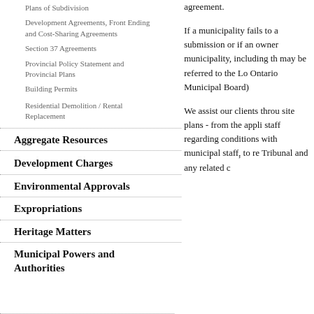Plans of Subdivision
Development Agreements, Front Ending and Cost-Sharing Agreements
Section 37 Agreements
Provincial Policy Statement and Provincial Plans
Building Permits
Residential Demolition / Rental Replacement
Aggregate Resources
Development Charges
Environmental Approvals
Expropriations
Heritage Matters
Municipal Powers and Authorities
agreement.
If a municipality fails to a submission or if an owner municipality, including th may be referred to the Lo Ontario Municipal Board)
We assist our clients throu site plans - from the appli staff regarding conditions with municipal staff, to re Tribunal and any related c